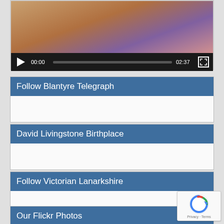[Figure (screenshot): Video player with thumbnail image and controls bar showing 00:00 current time and 02:37 total duration with play button and fullscreen button]
Follow Blantyre Telegraph
David Livingstone Birthplace
Follow Victorian Lanarkshire
Our Flickr Photos
[Figure (photo): Two Flickr photos: outdoor vegetation/ruins scene and indoor concert/event with colorful lights]
[Figure (other): reCAPTCHA badge with Privacy and Terms links]